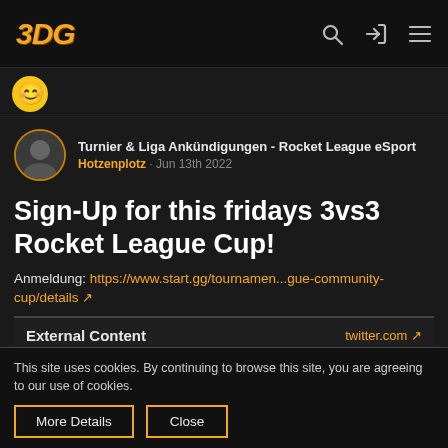JDG [logo] — navigation bar with search, login, and menu icons
[Figure (other): Smiley face emoji icon (yellow circle with smile)]
Turnier & Liga Ankündigungen - Rocket League eSport
Hotzenplotz · Jun 13th 2022
Sign-Up for this fridays 3vs3 Rocket League Cup!
Anmeldung: https://www.start.gg/tournamen...gue-community-cup/details ↗
External Content   twitter.com ↗
This site uses cookies. By continuing to browse this site, you are agreeing to our use of cookies.